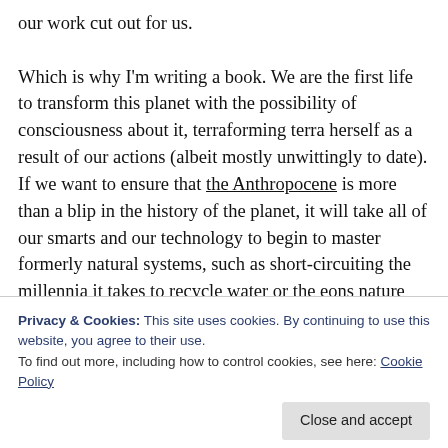our work cut out for us.
Which is why I'm writing a book. We are the first life to transform this planet with the possibility of consciousness about it, terraforming terra herself as a result of our actions (albeit mostly unwittingly to date). If we want to ensure that the Anthropocene is more than a blip in the history of the planet, it will take all of our smarts and our technology to begin to master formerly natural systems, such as short-circuiting the millennia it takes to recycle water or the eons nature requires to turn tons of old, dead plants into fossil fuels.
Privacy & Cookies: This site uses cookies. By continuing to use this website, you agree to their use.
To find out more, including how to control cookies, see here: Cookie Policy
Close and accept
and ensuring the resilience of our civilization, our